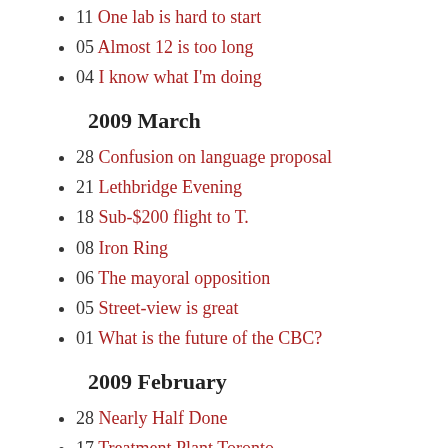11 One lab is hard to start
05 Almost 12 is too long
04 I know what I'm doing
2009 March
28 Confusion on language proposal
21 Lethbridge Evening
18 Sub-$200 flight to T.
08 Iron Ring
06 The mayoral opposition
05 Street-view is great
01 What is the future of the CBC?
2009 February
28 Nearly Half Done
17 Treatment Plant Toronto
11 Yay!
10 Morning